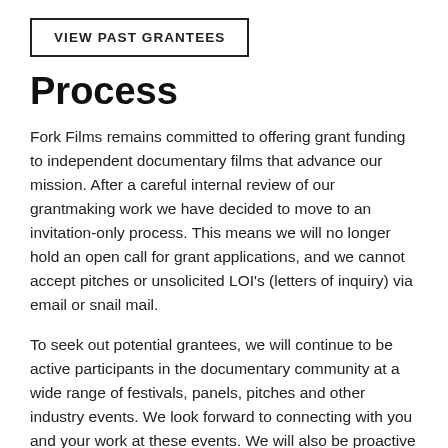VIEW PAST GRANTEES
Process
Fork Films remains committed to offering grant funding to independent documentary films that advance our mission. After a careful internal review of our grantmaking work we have decided to move to an invitation-only process. This means we will no longer hold an open call for grant applications, and we cannot accept pitches or unsolicited LOI's (letters of inquiry) via email or snail mail.
To seek out potential grantees, we will continue to be active participants in the documentary community at a wide range of festivals, panels, pitches and other industry events. We look forward to connecting with you and your work at these events. We will also be proactive in our tracking of works-in-progress that may